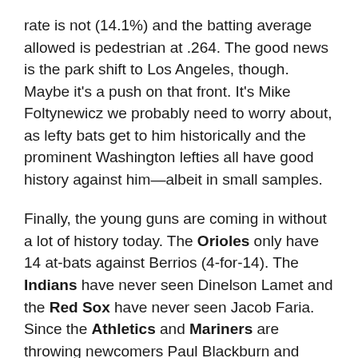rate is not (14.1%) and the batting average allowed is pedestrian at .264. The good news is the park shift to Los Angeles, though. Maybe it's a push on that front. It's Mike Foltynewicz we probably need to worry about, as lefty bats get to him historically and the prominent Washington lefties all have good history against him—albeit in small samples.
Finally, the young guns are coming in without a lot of history today. The Orioles only have 14 at-bats against Berrios (4-for-14). The Indians have never seen Dinelson Lamet and the Red Sox have never seen Jacob Faria. Since the Athletics and Mariners are throwing newcomers Paul Blackburn and Sam Gaviglio we have no history there, either. But you probably weren't relying on either of those guys.